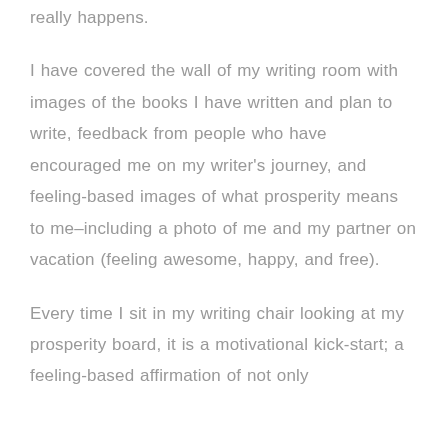really happens.
I have covered the wall of my writing room with images of the books I have written and plan to write, feedback from people who have encouraged me on my writer's journey, and feeling-based images of what prosperity means to me–including a photo of me and my partner on vacation (feeling awesome, happy, and free).
Every time I sit in my writing chair looking at my prosperity board, it is a motivational kick-start; a feeling-based affirmation of not only